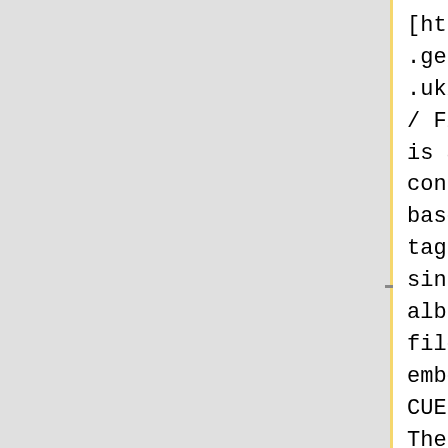[http://www.gently.org.uk/flactag/ Flactag] is a linux console based tagger for single album FLAC files with embedded CUE sheets. The tags are downloaded from the [[MusicBrainz]] service and can be